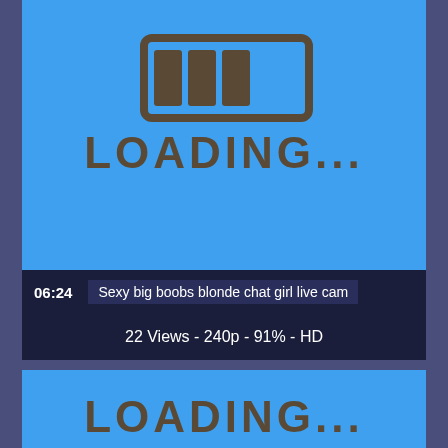[Figure (screenshot): Blue loading placeholder thumbnail with a hand-drawn loading bar icon and 'LOADING...' text in dark brown/gray]
06:24   Sexy big boobs blonde chat girl live cam
22 Views - 240p - 91% - HD
[Figure (screenshot): Second blue loading placeholder thumbnail with a hand-drawn loading bar icon and partial 'LOADING...' text]